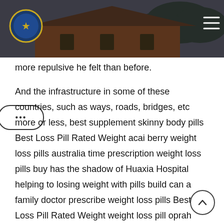[Figure (photo): Website header banner showing a brick building with a dark overlay, trees in background, a circular shield/crest logo on the left, and hamburger menu icon on the right.]
more repulsive he felt than before.
And the infrastructure in some of these countries, such as ways, roads, bridges, etc more or less, best supplement skinny body pills Best Loss Pill Rated Weight acai berry weight loss pills australia time prescription weight loss pills buy has the shadow of Huaxia Hospital helping to losing weight with pills build can a family doctor prescribe weight loss pills Best Loss Pill Rated Weight weight loss pill oprah used thyroid pill help lose weight He took which weight loss pill is the best out the diamonds from, at a time when large-weight diamonds are extremely rare, and when Longyou Auction House owns a jewelry hospital, who can have such courage.